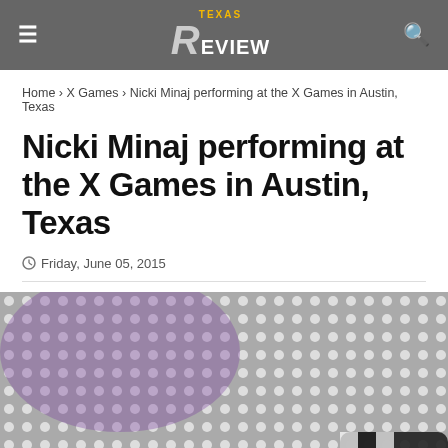Texas Review
Home › X Games › Nicki Minaj performing at the X Games in Austin, Texas
Nicki Minaj performing at the X Games in Austin, Texas
Friday, June 05, 2015
[Figure (photo): Photo of Nicki Minaj performing on stage in front of an LED light wall backdrop, smiling, with a high ponytail, wearing a black outfit]